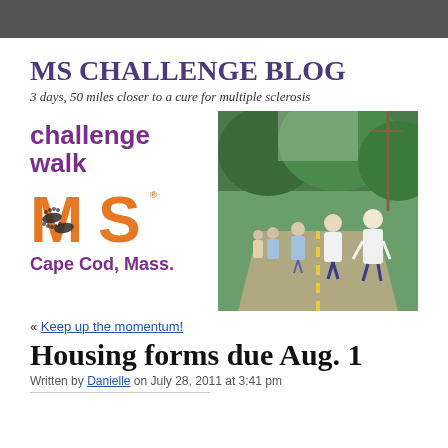MS CHALLENGE BLOG
3 days, 50 miles closer to a cure for multiple sclerosis
[Figure (logo): Challenge Walk MS logo with orange MS letters and shoe print design, Cape Cod, Mass. text, combined with a photo of walkers on a road]
« Keep up the momentum!
Housing forms due Aug. 1
Written by Danielle on July 28, 2011 at 3:41 pm